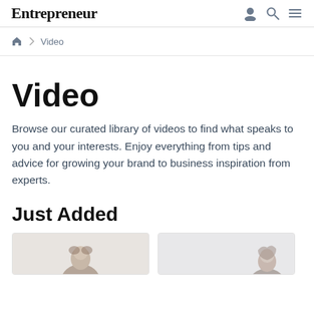Entrepreneur
Video
Video
Browse our curated library of videos to find what speaks to you and your interests. Enjoy everything from tips and advice for growing your brand to business inspiration from experts.
Just Added
[Figure (photo): Two partially visible thumbnail images showing people's heads/shoulders at the bottom of the page]